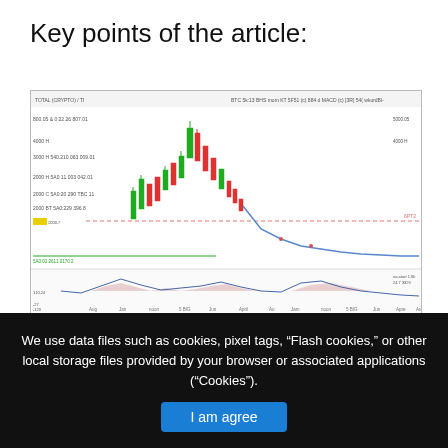Key points of the article:
[Figure (continuous-plot): Total Crypto Market Cap candlestick chart from TradingView showing price history with green and red candles, a dashed horizontal reference line in pink, a green support line, a declining price curve, and a volume/momentum oscillator at the bottom with shaded areas. Time axis spans from approximately Aug to Aug (one year). The chart shows a significant peak followed by a decline.]
Total Crypto Market Cap – TradingView chart
We use data files such as cookies, pixel tags, “Flash cookies,” or other local storage files provided by your browser or associated applications (“Cookies”).